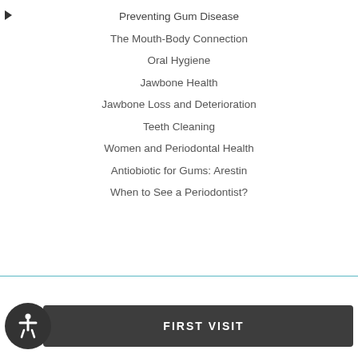Preventing Gum Disease
The Mouth-Body Connection
Oral Hygiene
Jawbone Health
Jawbone Loss and Deterioration
Teeth Cleaning
Women and Periodontal Health
Antiobiotic for Gums: Arestin
When to See a Periodontist?
FIRST VISIT